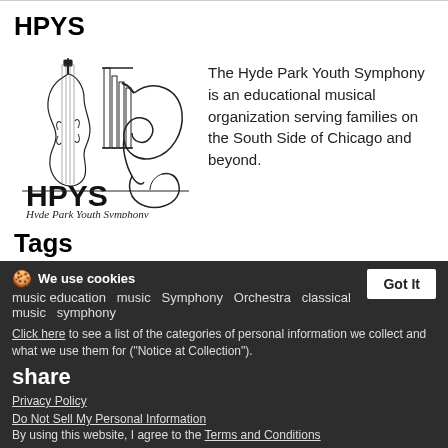HPYS
[Figure (logo): Hyde Park Youth Symphony logo with musical instruments (violin, horn) and text 'HPYS Hyde Park Youth Symphony']
The Hyde Park Youth Symphony is an educational musical organization serving families on the South Side of Chicago and beyond.
Tags
music education  music  Symphony  Orchestra  classical music  symphony
We use cookies
Click here to see a list of the categories of personal information we collect and what we use them for ("Notice at Collection").
share
Privacy Policy
Do Not Sell My Personal Information
By using this website, I agree to the Terms and Conditions